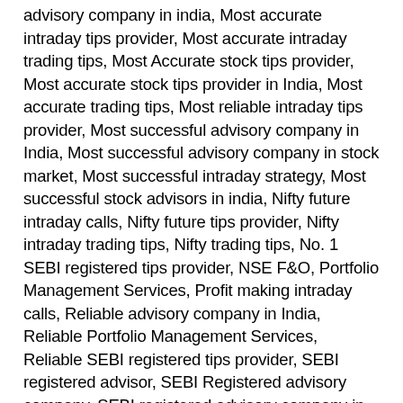advisory company in india, Most accurate intraday tips provider, Most accurate intraday trading tips, Most Accurate stock tips provider, Most accurate stock tips provider in India, Most accurate trading tips, Most reliable intraday tips provider, Most successful advisory company in India, Most successful advisory company in stock market, Most successful intraday strategy, Most successful stock advisors in india, Nifty future intraday calls, Nifty future tips provider, Nifty intraday trading tips, Nifty trading tips, No. 1 SEBI registered tips provider, NSE F&O, Portfolio Management Services, Profit making intraday calls, Reliable advisory company in India, Reliable Portfolio Management Services, Reliable SEBI registered tips provider, SEBI registered advisor, SEBI Registered advisory company, SEBI registered advisory company in India, SEBI registered best intraday tips provider, SEBI registered best investment advisory, SEBI registered intraday tips provider, SEBI registered intraday tips provider list, SEBI registered Investment advisor, SEBI registered Research Analyst, SEBI registered top 10 advisory company, Share Market Tips, Share Market